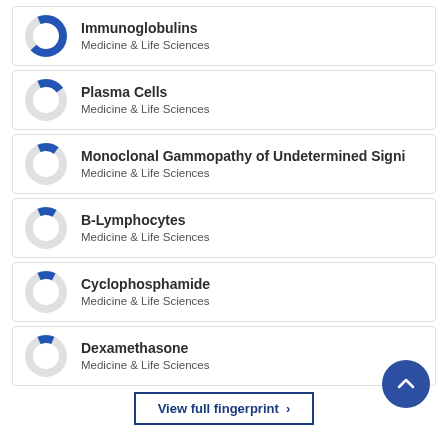Immunoglobulins
Medicine & Life Sciences
Plasma Cells
Medicine & Life Sciences
Monoclonal Gammopathy of Undetermined Signi
Medicine & Life Sciences
B-Lymphocytes
Medicine & Life Sciences
Cyclophosphamide
Medicine & Life Sciences
Dexamethasone
Medicine & Life Sciences
View full fingerprint ›